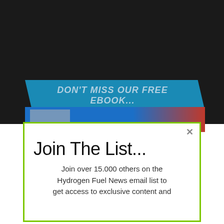[Figure (screenshot): Dark background webpage with a blue banner reading DON'T MISS OUR FREE EBOOK... and a partially visible ebook cover below it]
Join The List...
Join over 15.000 others on the Hydrogen Fuel News email list to get access to exclusive content and